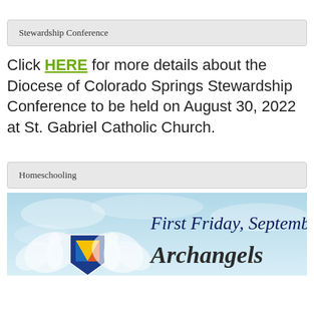Stewardship Conference
Click HERE for more details about the Diocese of Colorado Springs Stewardship Conference to be held on August 30, 2022 at St. Gabriel Catholic Church.
Homeschooling
[Figure (illustration): Banner image reading 'First Friday, September 2 Archangels' with angel figures and a shield logo on a blue sky background]